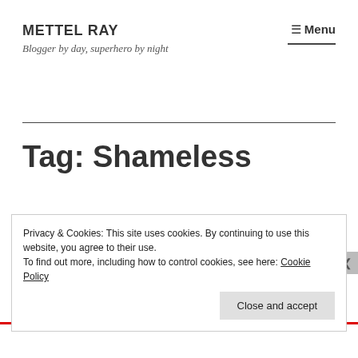METTEL RAY
Blogger by day, superhero by night
Tag: Shameless
Privacy & Cookies: This site uses cookies. By continuing to use this website, you agree to their use.
To find out more, including how to control cookies, see here: Cookie Policy
Close and accept